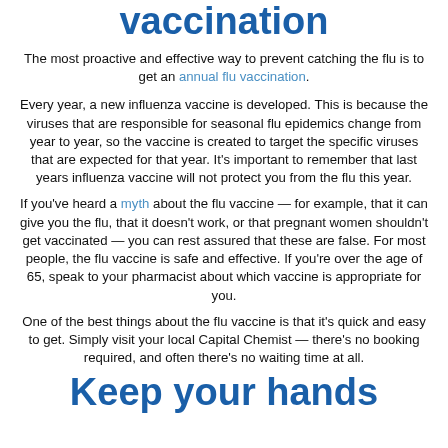vaccination
The most proactive and effective way to prevent catching the flu is to get an annual flu vaccination.
Every year, a new influenza vaccine is developed. This is because the viruses that are responsible for seasonal flu epidemics change from year to year, so the vaccine is created to target the specific viruses that are expected for that year. It's important to remember that last years influenza vaccine will not protect you from the flu this year.
If you've heard a myth about the flu vaccine — for example, that it can give you the flu, that it doesn't work, or that pregnant women shouldn't get vaccinated — you can rest assured that these are false. For most people, the flu vaccine is safe and effective. If you're over the age of 65, speak to your pharmacist about which vaccine is appropriate for you.
One of the best things about the flu vaccine is that it's quick and easy to get. Simply visit your local Capital Chemist — there's no booking required, and often there's no waiting time at all.
Keep your hands